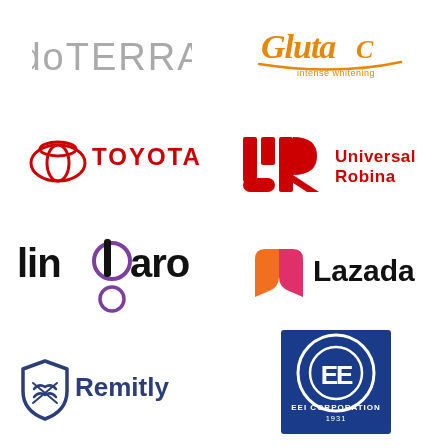[Figure (logo): doTERRA logo in grey text]
[Figure (logo): GlutaC intense whitening logo in orange handwritten style with underline stroke]
[Figure (logo): Toyota logo with red circle emblem and TOYOTA text in red]
[Figure (logo): Universal Robina Corporation logo with red UR monogram and text]
[Figure (logo): Lingaro logo in black sans-serif with purple circle ring accent]
[Figure (logo): Lazada logo with orange-pink heart icon and black Lazada text]
[Figure (logo): Remitly logo with dark blue shield/handshake icon and Remitly text]
[Figure (logo): EEI Corporation logo with blue square containing white EE monogram and EEI CORPORATION 1931 text]